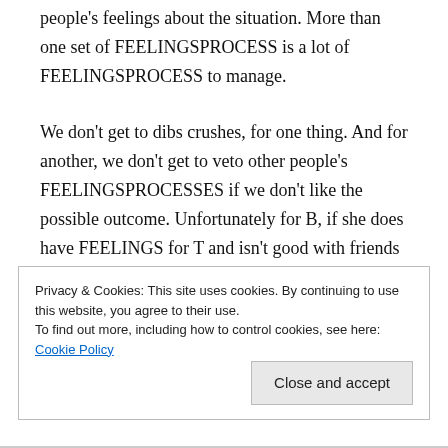people's feelings about the situation. More than one set of FEELINGSPROCESS is a lot of FEELINGSPROCESS to manage.
We don't get to dibs crushes, for one thing. And for another, we don't get to veto other people's FEELINGSPROCESSES if we don't like the possible outcome. Unfortunately for B, if she does have FEELINGS for T and isn't good with friends she wants to kiss, kissing other people, that's a part of life she will have to grow up and live with. You can't make her take rejection
Privacy & Cookies: This site uses cookies. By continuing to use this website, you agree to their use.
To find out more, including how to control cookies, see here: Cookie Policy
Close and accept